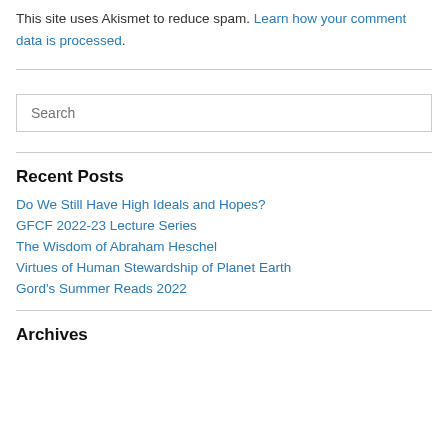This site uses Akismet to reduce spam. Learn how your comment data is processed.
Search
Recent Posts
Do We Still Have High Ideals and Hopes?
GFCF 2022-23 Lecture Series
The Wisdom of Abraham Heschel
Virtues of Human Stewardship of Planet Earth
Gord's Summer Reads 2022
Archives